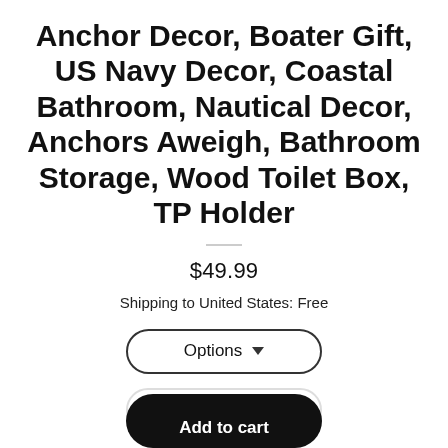Anchor Decor, Boater Gift, US Navy Decor, Coastal Bathroom, Nautical Decor, Anchors Aweigh, Bathroom Storage, Wood Toilet Box, TP Holder
$49.99
Shipping to United States: Free
Options
Quantity
Add to cart